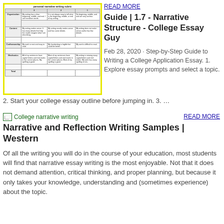[Figure (screenshot): Thumbnail of a personal narrative writing rubric table with yellow border, showing rows for Content, Craftsmanship, and Mechanics with small icons]
READ MORE
Guide | 1.7 - Narrative Structure - College Essay Guy
Feb 28, 2020 · Step-by-Step Guide to Writing a College Application Essay. 1. Explore essay prompts and select a topic. 2. Start your college essay outline before jumping in. 3. …
[Figure (screenshot): Broken image placeholder icon labeled 'College narrative writing']
READ MORE
Narrative and Reflection Writing Samples | Western
Of all the writing you will do in the course of your education, most students will find that narrative essay writing is the most enjoyable. Not that it does not demand attention, critical thinking, and proper planning, but because it only takes your knowledge, understanding and (sometimes experience) about the topic.